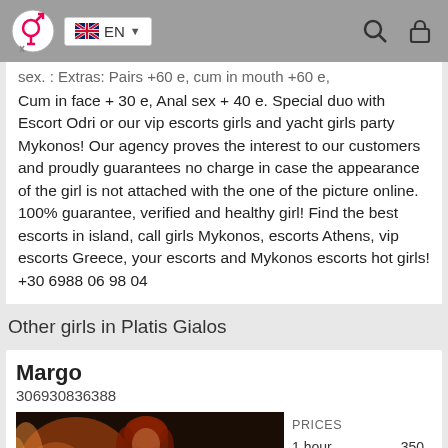EN (language selector with UK flag, search icon, lock icon)
sex. : Extras: Pairs +60 e, cum in mouth +60 e, Cum in face + 30 e, Anal sex + 40 e. Special duo with Escort Odri or our vip escorts girls and yacht girls party Mykonos! Our agency proves the interest to our customers and proudly guarantees no charge in case the appearance of the girl is not attached with the one of the picture online. 100% guarantee, verified and healthy girl! Find the best escorts in island, call girls Mykonos, escorts Athens, vip escorts Greece, your escorts and Mykonos escorts hot girls! +30 6988 06 98 04
Other girls in Platis Gialos
Margo
306930836388
|  |  |
| --- | --- |
| 1 hour | 350 |
| 2 hours | 550 |
[Figure (photo): Photo of a woman with reddish hair in a dark setting]